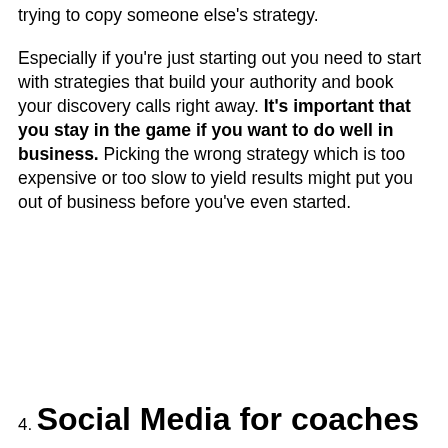trying to copy someone else's strategy.
Especially if you're just starting out you need to start with strategies that build your authority and book your discovery calls right away. It's important that you stay in the game if you want to do well in business. Picking the wrong strategy which is too expensive or too slow to yield results might put you out of business before you've even started.
4. Social Media for coaches